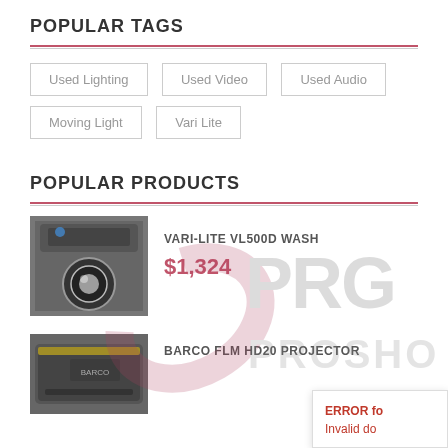POPULAR TAGS
Used Lighting
Used Video
Used Audio
Moving Light
Vari Lite
POPULAR PRODUCTS
[Figure (logo): PRG ProShop watermark logo with swirl icon]
[Figure (photo): Grayscale photo of Vari-Lite VL500D Wash moving light fixture]
VARI-LITE VL500D WASH
$1,324
[Figure (photo): Grayscale photo of Barco FLM HD20 Projector in black case]
BARCO FLM HD20 PROJECTOR
ERROR fo
Invalid do